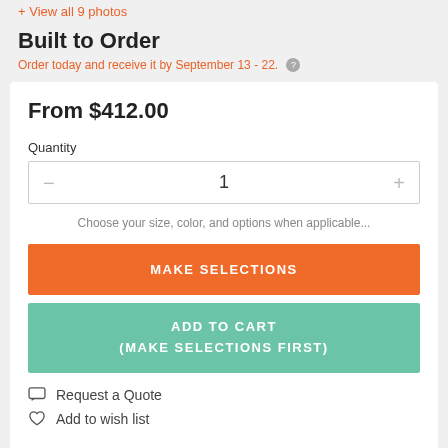+ View all 9 photos
Built to Order
Order today and receive it by September 13 - 22.
From $412.00
Quantity
1
Choose your size, color, and options when applicable...
MAKE SELECTIONS
ADD TO CART
(MAKE SELECTIONS FIRST)
Request a Quote
Add to wish list